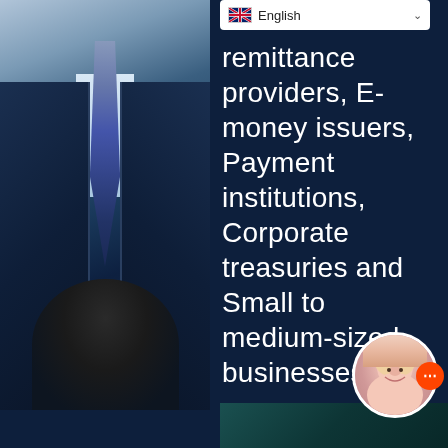[Figure (photo): Blurred photo of a person in a dark business suit with a blue-gray tie on the left side of the page, with another person's head partially visible at the bottom]
English
remittance providers, E-money issuers, Payment institutions, Corporate treasuries and Small to medium-sized businesses.
[Figure (photo): Chat avatar showing a blonde woman smiling, with an orange chat button]
[Figure (photo): Small teal/dark background image at bottom right]